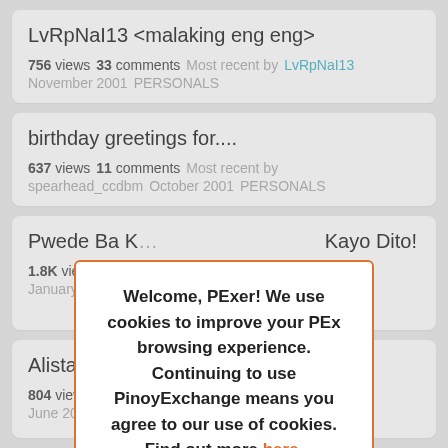LvRpNaI13 <malaking eng eng>
756 views   33 comments   Most recent by LvRpNaI13   November 2001   PERSONALS
birthday greetings for....
637 views   11 comments   Most recent by spearhead_ccdbm   October 2001   PERSONALS
Pwede Ba K... Kayo Dito!
1.8K views   January 2002   dlebrain
Alistair
804 views   June 2002   chantress
Welcome, PExer! We use cookies to improve your PEx browsing experience. Continuing to use PinoyExchange means you agree to our use of cookies. Find out more here. Continue